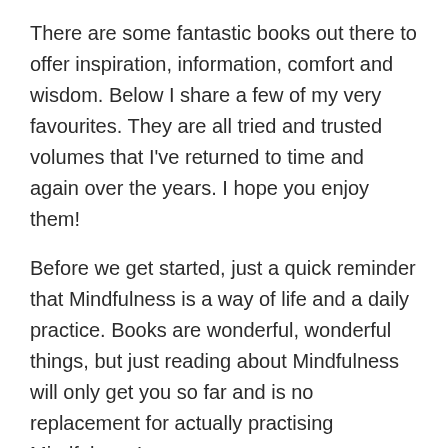There are some fantastic books out there to offer inspiration, information, comfort and wisdom. Below I share a few of my very favourites. They are all tried and trusted volumes that I've returned to time and again over the years. I hope you enjoy them!
Before we get started, just a quick reminder that Mindfulness is a way of life and a daily practice. Books are wonderful, wonderful things, but just reading about Mindfulness will only get you so far and is no replacement for actually practising Mindfulness!
1. 'Wherever you go, there you are' by Jon Kabat-Zinn
We're starting with a classic! Jon Kabat-Zinn is widely